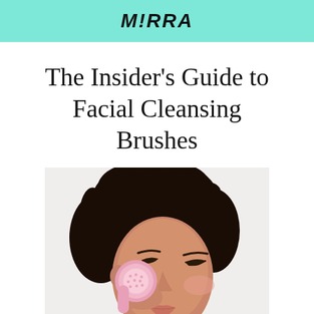M!RRA
The Insider's Guide to Facial Cleansing Brushes
[Figure (photo): A young woman with curly dark hair holding a pink facial cleansing brush against her cheek, eyes closed, on a light background.]